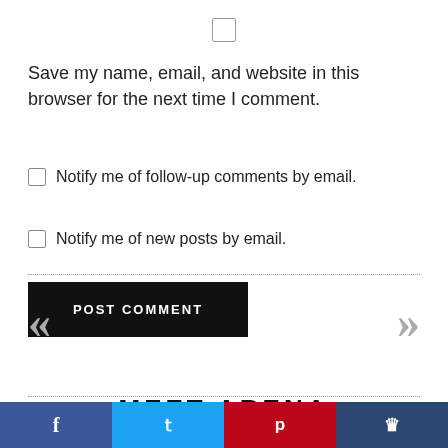Save my name, email, and website in this browser for the next time I comment.
Notify me of follow-up comments by email.
Notify me of new posts by email.
POST COMMENT
MEET ARENA
Shares | f | t | p | crown